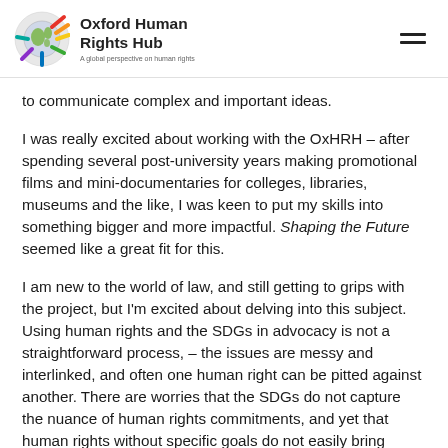Oxford Human Rights Hub — A global perspective on human rights
to communicate complex and important ideas.
I was really excited about working with the OxHRH – after spending several post-university years making promotional films and mini-documentaries for colleges, libraries, museums and the like, I was keen to put my skills into something bigger and more impactful. Shaping the Future seemed like a great fit for this.
I am new to the world of law, and still getting to grips with the project, but I'm excited about delving into this subject. Using human rights and the SDGs in advocacy is not a straightforward process,  – the issues are messy and interlinked, and often one human right can be pitted against another. There are worries that the SDGs do not capture the nuance of human rights commitments, and yet that human rights without specific goals do not easily bring about concrete change. But one thing does seem